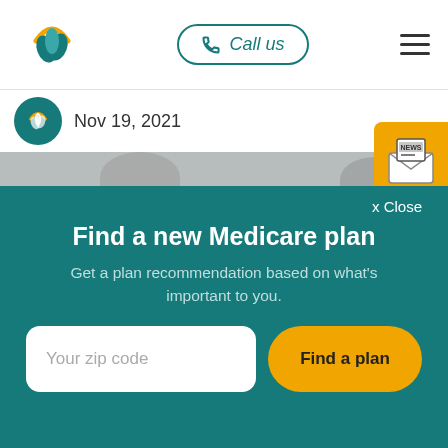Call us
Nov 19, 2021
[Figure (screenshot): Partial screenshot of a webpage showing a header with a leaf/plant logo, a 'Call us' button with teal border, and hamburger menu. Below is a date bar showing Nov 19, 2021 with a circular teal logo. A people/person image is partially visible in the background.]
x Close
Find a new Medicare plan
Get a plan recommendation based on what's important to you.
Your zip code
Find a plan